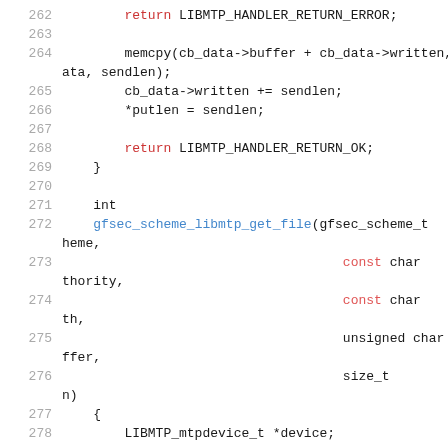source code listing, lines 262-278, C code with syntax highlighting
262        return LIBMTP_HANDLER_RETURN_ERROR;
263
264        memcpy(cb_data->buffer + cb_data->written, data, sendlen);
265        cb_data->written += sendlen;
266        *putlen = sendlen;
267
268        return LIBMTP_HANDLER_RETURN_OK;
269    }
270
271    int
272    gfsec_scheme_libmtp_get_file(gfsec_scheme_t    scheme,
273                                    const char      *authority,
274                                    const char      *path,
275                                    unsigned char   **buffer,
276                                    size_t           *len)
277    {
278        LIBMTP_mtpdevice_t *device;